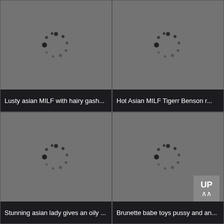[Figure (screenshot): Grid of four video thumbnail placeholders with loading spinners on grey backgrounds, each with a dark title bar at the bottom. Top-left: 'Lusty asian MILF with hairy gash...', Top-right: 'Hot Asian MILF Tigerr Benson r...', Bottom-left: 'Stunning asian lady gives an oily ...', Bottom-right: 'Brunette babe toys pussy and an...'. An 'UP' navigation badge appears over the bottom-right cell.]